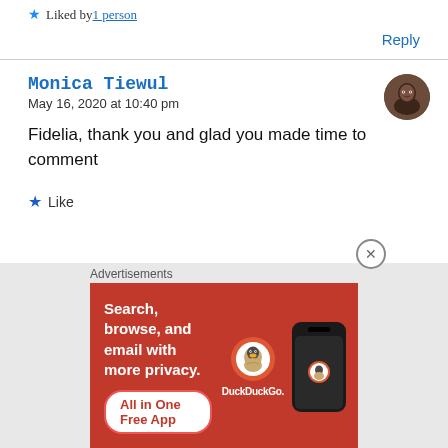★ Liked by 1person
Reply
Monica Tiewul
May 16, 2020 at 10:40 pm
Fidelia, thank you and glad you made time to comment
★ Like
Advertisements
[Figure (screenshot): DuckDuckGo advertisement banner: orange/red background with text 'Search, browse, and email with more privacy. All in One Free App' and DuckDuckGo logo with phone mockup]